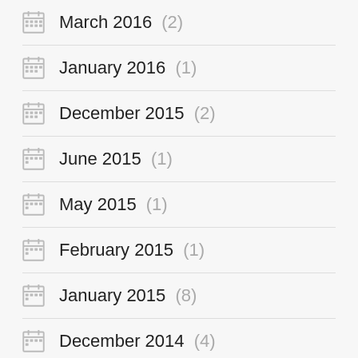March 2016 (2)
January 2016 (1)
December 2015 (2)
June 2015 (1)
May 2015 (1)
February 2015 (1)
January 2015 (8)
December 2014 (4)
October 2014 (3)
July 2014 (2)